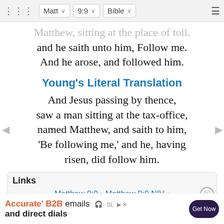Matt 9:9 Bible
Matthew, sitting at the place of toll. and he saith unto him, Follow me. And he arose, and followed him.
Young's Literal Translation
And Jesus passing by thence, saw a man sitting at the tax-office, named Matthew, and saith to him, 'Be following me,' and he, having risen, did follow him.
Links
Matthew 9:9 • Matthew 9:9 NIV • Matthew 9:9 NLT • Matthew 9:9 ESV • Matthew 9:9 NASB • Matthew 9:9 KJV • Matthew 9:9
Accurate' B2B emails and direct dials